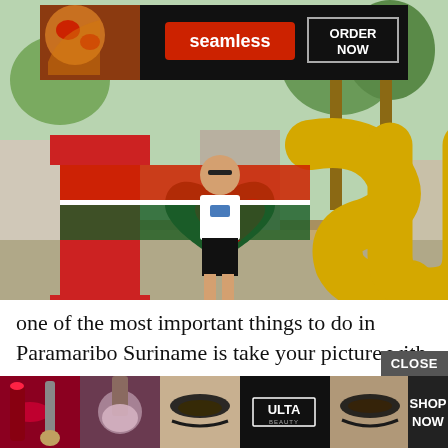[Figure (photo): A man standing in front of a large 'I Love Suriname' sign with red, white, green and gold letters, with a Seamless food delivery advertisement banner overlaid at the top of the image]
one of the most important things to do in Paramaribo Suriname is take your picture with the I love Suriname sign.  As a result you'll have a picture memory of your visit
[Figure (advertisement): Ulta Beauty advertisement banner at the bottom with makeup product photos and 'SHOP NOW' button, overlaid with a 'CLOSE' button]